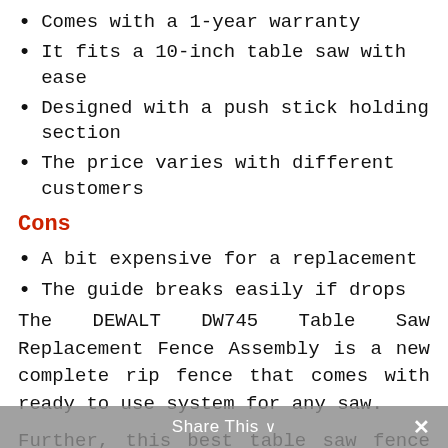Comes with a 1-year warranty
It fits a 10-inch table saw with ease
Designed with a push stick holding section
The price varies with different customers
Cons
A bit expensive for a replacement
The guide breaks easily if drops
The DEWALT DW745 Table Saw Replacement Fence Assembly is a new complete rip fence that comes with ready to use system for any saw.
Further, this best table saw fence supports the notch aligns with a bolt-on the rail of the front and the back.